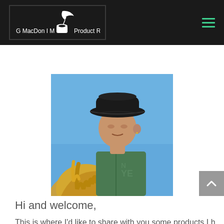G MacDon I M Product Reviews
[Figure (photo): Man wearing a black cowboy hat and green hoodie, sitting on or near a horse with a blue sky background]
Hi and welcome,
This is where I'd like to share with you some products I have